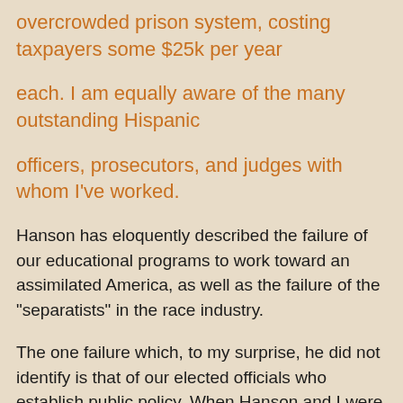overcrowded prison system, costing taxpayers some $25k per year
each. I am equally aware of the many outstanding Hispanic
officers, prosecutors, and judges with whom I've worked.
Hanson has eloquently described the failure of our educational programs to work toward an assimilated America, as well as the failure of the "separatists" in the race industry.
The one failure which, to my surprise, he did not identify is that of our elected officials who establish public policy. When Hanson and I were youngsters/young men in the Central Valley, the politicians seemed to act in the best interests of their constituencies. Today,by and large, our politicians have little integrity, but rather pander incessantly to special interests which, in turn, provide them with campaign funds,